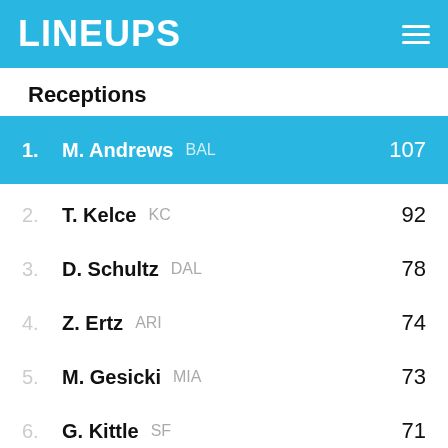LINEUPS
Receptions
1. M. Andrews BAL 107
2. T. Kelce KC 92
3. D. Schultz DAL 78
4. Z. Ertz ARI 74
5. M. Gesicki MIA 73
6. G. Kittle SF 71
7. K. Pitts ATL 68